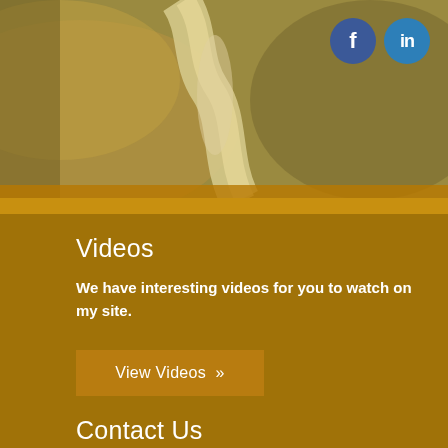[Figure (photo): Aerial or landscape photo of a river or stream running through golden/brown agricultural fields, viewed from above. Social media icons (Facebook, LinkedIn) visible in top right corner.]
Videos
We have interesting videos for you to watch on my site.
View Videos »
Contact Us
Please feel free to contact us with any questions.